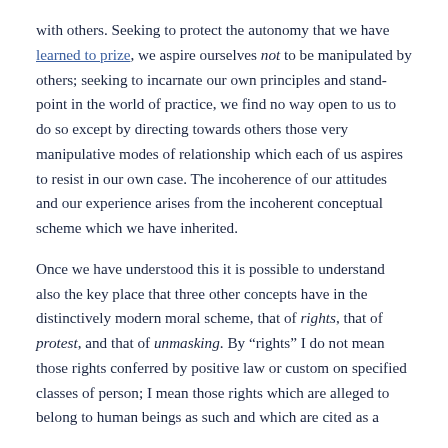with others. Seeking to protect the autonomy that we have learned to prize, we aspire ourselves not to be manipulated by others; seeking to incarnate our own principles and standpoint in the world of practice, we find no way open to us to do so except by directing towards others those very manipulative modes of relationship which each of us aspires to resist in our own case. The incoherence of our attitudes and our experience arises from the incoherent conceptual scheme which we have inherited.
Once we have understood this it is possible to understand also the key place that three other concepts have in the distinctively modern moral scheme, that of rights, that of protest, and that of unmasking. By "rights" I do not mean those rights conferred by positive law or custom on specified classes of person; I mean those rights which are alleged to belong to human beings as such and which are cited as a